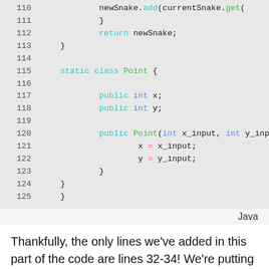[Figure (screenshot): Java code snippet showing lines 110-125 with syntax highlighting. Lines include closing braces, return statement, and a static inner class Point with int fields x and y and a constructor.]
Java
Thankfully, the only lines we've added in this part of the code are lines 32-34! We're putting this new code inside that part that detects when the snake's head is on the food (i.e Mr Snake has eaten), and moving the food.